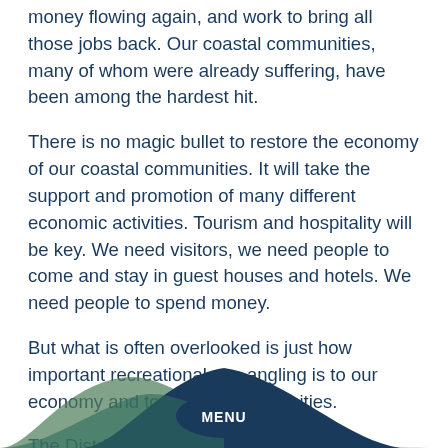money flowing again, and work to bring all those jobs back.  Our coastal communities, many of whom were already suffering, have been among the hardest hit.
There is no magic bullet to restore the economy of our coastal communities.  It will take the support and promotion of many different economic activities.  Tourism and hospitality will be key.  We need visitors, we need people to come and stay in guest houses and hotels.  We need people to spend money.
But what is often overlooked is just how important recreational sea angling is to our economy and to coastal communities.
The District Councils' Network, which represents councils for many of England's tourist and culture locations, recently warned of the threat of our tourist towns and seaside resorts becoming “ghost towns” as people stay away.
[Figure (illustration): A dark teal/navy wave or hill shape at the bottom of the page with a MENU button overlay in the center]